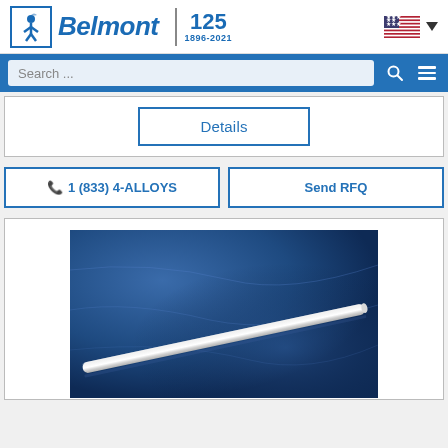[Figure (logo): Belmont Metals logo with person figure icon, brand name 'Belmont' in italic bold blue, 125th anniversary (1896-2021), US flag and dropdown arrow]
[Figure (screenshot): Blue search bar with search input field, magnifying glass icon, and hamburger menu icon]
Details
1 (833) 4-ALLOYS
Send RFQ
[Figure (photo): Photo of a metal rod or bar on a blue fabric background]